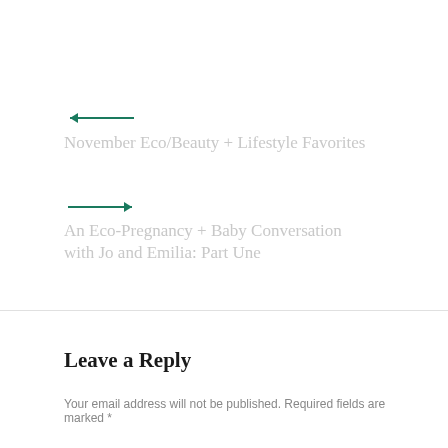[Figure (other): Left-pointing arrow in teal/dark green color]
November Eco/Beauty + Lifestyle Favorites
[Figure (other): Right-pointing arrow in teal/dark green color]
An Eco-Pregnancy + Baby Conversation with Jo and Emilia: Part Une
Leave a Reply
Your email address will not be published. Required fields are marked *